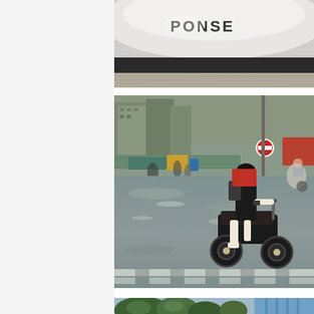[Figure (photo): Partial view of a sign or logo with text 'PONSE' visible, appears to be a close-up of some kind of signage or product with black and white coloring and a concrete/stone surface visible below]
[Figure (photo): Flooded street scene in what appears to be Vietnam or Southeast Asia. A young woman in a black dress rides a motorcycle through floodwaters. Market stalls, awnings, motorcycles, and urban buildings are visible in the background. A no-entry traffic sign is visible. Zebra crossing stripes visible in foreground.]
[Figure (photo): Partial view of trees and blue building in the background, bottom portion cut off]